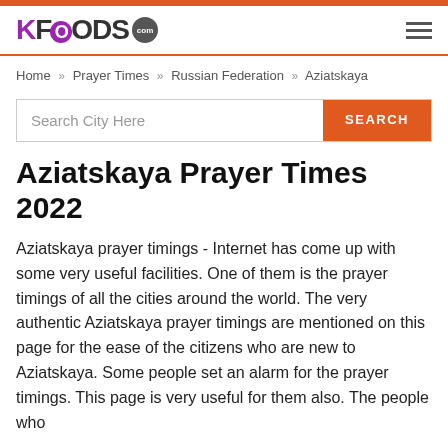KFOODS.com
Home » Prayer Times » Russian Federation » Aziatskaya
Search City Here  SEARCH
Aziatskaya Prayer Times 2022
Aziatskaya prayer timings - Internet has come up with some very useful facilities. One of them is the prayer timings of all the cities around the world. The very authentic Aziatskaya prayer timings are mentioned on this page for the ease of the citizens who are new to Aziatskaya. Some people set an alarm for the prayer timings. This page is very useful for them also. The people who